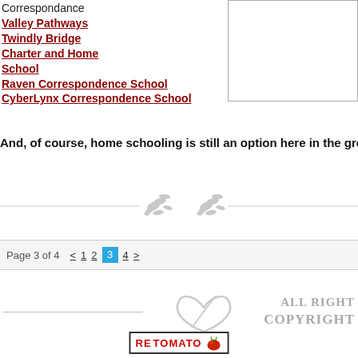Correspondance
Valley Pathways
Twindly Bridge
Charter and Home School
Raven Correspondence School
CyberLynx Correspondence School
And, of course, home schooling is still an option here in the great state of Alas
[Figure (illustration): Decorative horizontal divider with two symmetrical leaf/floral ornaments in light gray on either side of a horizontal line]
Page 3 of 4  < 1 2 3 4 >
[Figure (illustration): Footer area with decorative swirl logo in gray, ALL RIGHTS / COPYRIGHT text in gray on the right, and a RE TOMATO badge at the bottom center]